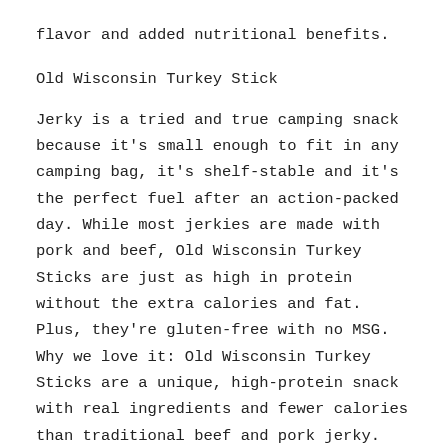flavor and added nutritional benefits.
Old Wisconsin Turkey Stick
Jerky is a tried and true camping snack because it's small enough to fit in any camping bag, it's shelf-stable and it's the perfect fuel after an action-packed day. While most jerkies are made with pork and beef, Old Wisconsin Turkey Sticks are just as high in protein without the extra calories and fat. Plus, they're gluten-free with no MSG.
Why we love it: Old Wisconsin Turkey Sticks are a unique, high-protein snack with real ingredients and fewer calories than traditional beef and pork jerky.